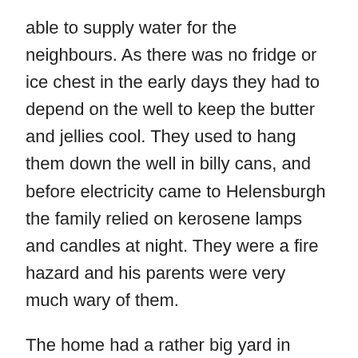able to supply water for the neighbours. As there was no fridge or ice chest in the early days they had to depend on the well to keep the butter and jellies cool. They used to hang them down the well in billy cans, and before electricity came to Helensburgh the family relied on kerosene lamps and candles at night. They were a fire hazard and his parents were very much wary of them.
The home had a rather big yard in which Walter grew quite a few vegetables; potatoes, onions, lettuce, beans, chokos, spinach and pumpkin, and up the backyard, in a fenced off area, a young girl's parents built a stable so that she could keep her horse in it. Walter cleaned the stables out, the weeds were kept down and he had the manure for his garden.
During the depression Walter's father was out of work